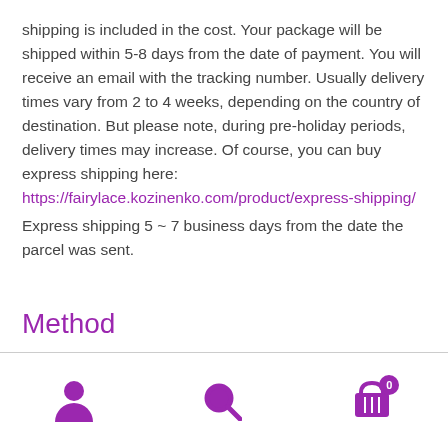shipping is included in the cost. Your package will be shipped within 5-8 days from the date of payment. You will receive an email with the tracking number. Usually delivery times vary from 2 to 4 weeks, depending on the country of destination. But please note, during pre-holiday periods, delivery times may increase. Of course, you can buy express shipping here: https://fairylace.kozinenko.com/product/express-shipping/
Express shipping 5 ~ 7 business days from the date the parcel was sent.
Method
[user icon] [search icon] [cart icon with badge 0]